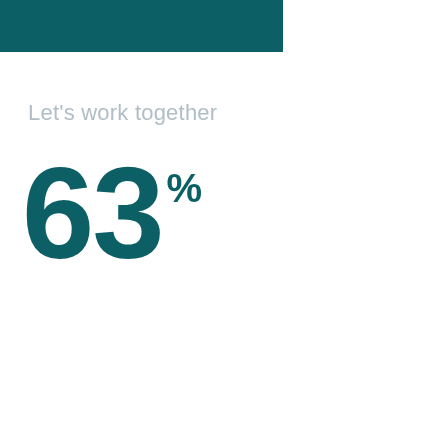[Figure (other): Teal/dark green horizontal rectangular bar at top left of page]
Let's work together
63%